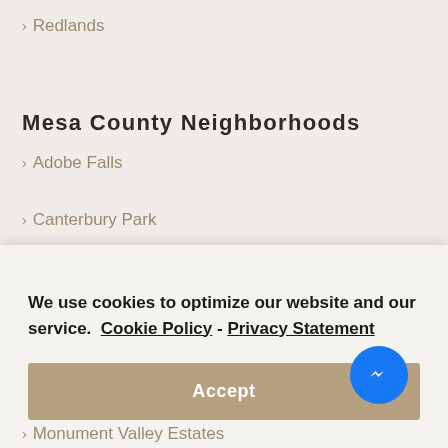> Redlands
Mesa County Neighborhoods
> Adobe Falls
> Canterbury Park
> Canyon Rim
We use cookies to optimize our website and our service.  Cookie Policy - Privacy Statement
Accept
> Monument Valley Estates